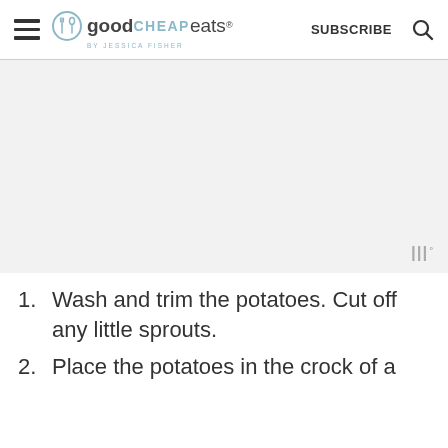good CHEAP eats by Jessica Fisher | SUBSCRIBE
[Figure (other): Advertisement placeholder area with Mediavine (wt) logo watermark in bottom right corner]
Wash and trim the potatoes. Cut off any little sprouts.
Place the potatoes in the crock of a